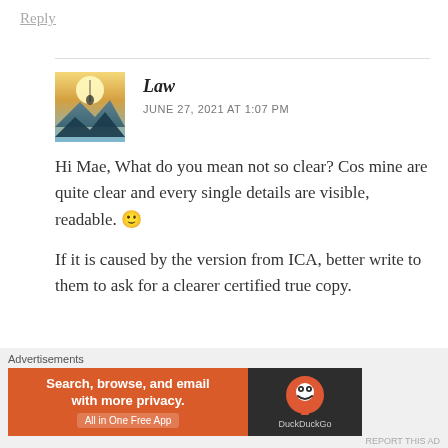Reply
[Figure (photo): Avatar image showing a fantasy landscape with a figure silhouetted against a bright sky and mountains]
Law
JUNE 27, 2021 AT 1:07 PM
Hi Mae, What do you mean not so clear? Cos mine are quite clear and every single details are visible, readable. 🙂
If it is caused by the version from ICA, better write to them to ask for a clearer certified true copy.
Advertisements
[Figure (screenshot): DuckDuckGo advertisement banner: 'Search, browse, and email with more privacy. All in One Free App' with DuckDuckGo logo on dark background]